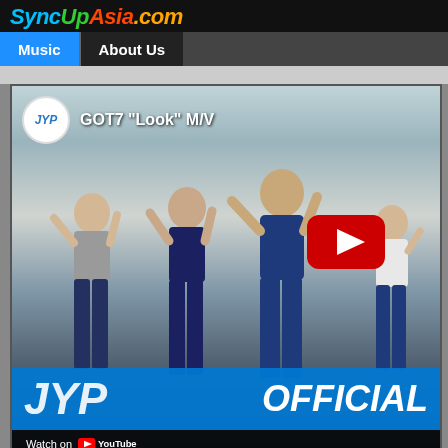SyncUpAsia.com
Music | About Us
[Figure (screenshot): YouTube embedded video thumbnail for GOT7 'Look' M/V via JYP Entertainment official channel. Shows multiple dancers in blue tracksuits performing choreography in front of a modern building. YouTube play button visible. Bottom overlay shows JYP OFFICIAL branding and 'Watch on YouTube'.]